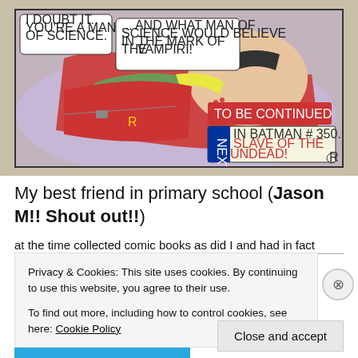[Figure (illustration): A vintage Batman comic panel showing Robin lying down, with speech bubbles reading 'I DOUBT IT. YOU'RE A MAN OF SCIENCE.' and '...AND WHAT MAN OF SCIENCE WOULD BELIEVE IN THE MARK OF THE VAMPIRI!' with 'TO BE CONTINUED' box and 'NEXT IN BATMAN # 350... SLAVE OF THE UNDEAD!' text.]
My best friend in primary school (Jason M!! Shout out!!)
at the time collected comic books as did I and had in fact
Privacy & Cookies: This site uses cookies. By continuing to use this website, you agree to their use.
To find out more, including how to control cookies, see here: Cookie Policy
Close and accept